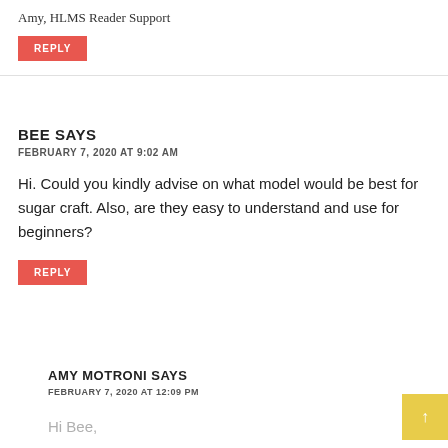Amy, HLMS Reader Support
REPLY
BEE SAYS
FEBRUARY 7, 2020 AT 9:02 AM
Hi. Could you kindly advise on what model would be best for sugar craft. Also, are they easy to understand and use for beginners?
REPLY
AMY MOTRONI SAYS
FEBRUARY 7, 2020 AT 12:09 PM
Hi Bee,